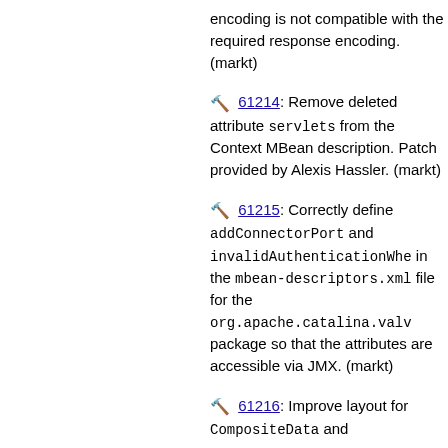encoding is not compatible with the required response encoding. (markt)
🔨 61214: Remove deleted attribute servlets from the Context MBean description. Patch provided by Alexis Hassler. (markt)
🔨 61215: Correctly define addConnectorPort and invalidAuthenticationWhe in the mbean-descriptors.xml file for the org.apache.catalina.valv package so that the attributes are accessible via JMX. (markt)
🔨 61216: Improve layout for CompositeData and